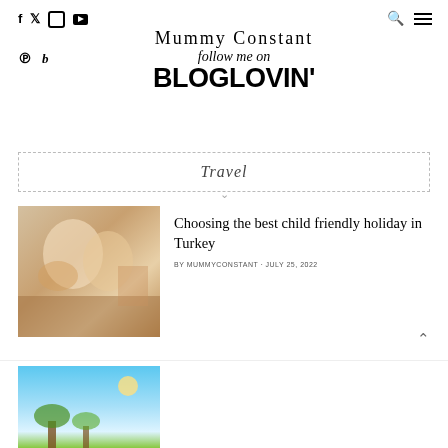Mummy Constant – follow me on BLOGLOVIN'
[Figure (logo): Mummy Constant blog logo with social icons: Facebook, Twitter, Instagram, YouTube, Pinterest, Bloglovin. Navigation search and hamburger menu icons on right. Central Bloglovin follow banner with script 'Mummy Constant', italic 'follow me on', bold 'BLOGLOVIN'' text.]
Travel
Choosing the best child friendly holiday in Turkey
BY MUMMYCONSTANT · JULY 25, 2022
[Figure (photo): Photo of children at a holiday destination, warm tones, outdoor scene]
[Figure (photo): Photo showing a bright blue sky scene with palm trees, holiday destination]